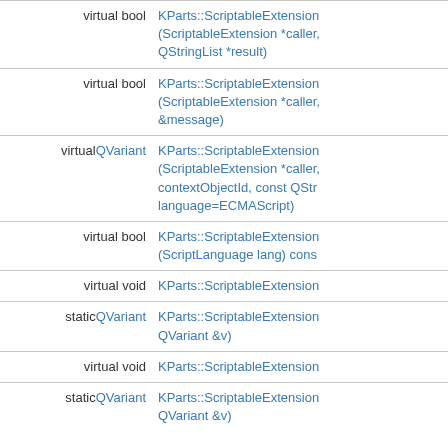| Return | Signature |
| --- | --- |
| virtual bool | KParts::ScriptableExtension (ScriptableExtension *caller, QStringList *result) |
| virtual bool | KParts::ScriptableExtension (ScriptableExtension *caller, &message) |
| virtualQVariant | KParts::ScriptableExtension (ScriptableExtension *caller, contextObjectId, const QStr language=ECMAScript) |
| virtual bool | KParts::ScriptableExtension (ScriptLanguage lang) cons |
| virtual void | KParts::ScriptableExtension |
| staticQVariant | KParts::ScriptableExtension QVariant &v) |
| virtual void | KParts::ScriptableExtension |
| staticQVariant | KParts::ScriptableExtension QVariant &v) |